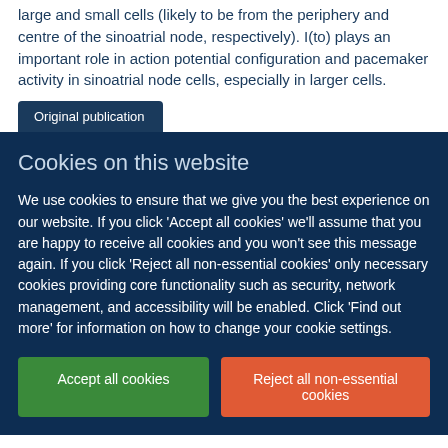large and small cells (likely to be from the periphery and centre of the sinoatrial node, respectively). I(to) plays an important role in action potential configuration and pacemaker activity in sinoatrial node cells, especially in larger cells.
Original publication
Cookies on this website
We use cookies to ensure that we give you the best experience on our website. If you click 'Accept all cookies' we'll assume that you are happy to receive all cookies and you won't see this message again. If you click 'Reject all non-essential cookies' only necessary cookies providing core functionality such as security, network management, and accessibility will be enabled. Click 'Find out more' for information on how to change your cookie settings.
Accept all cookies
Reject all non-essential cookies